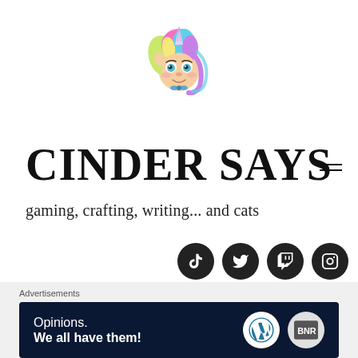[Figure (illustration): Cartoon chibi unicorn girl with colorful rainbow hair (pink, blue, purple, yellow), teal eyes, a unicorn horn, and a bow tie; stylized logo for the Cinder Says blog]
CINDER SAYS
gaming, crafting, writing... and cats
[Figure (infographic): Row of four circular social media icon buttons (dark/black circles with white icons): TikTok, Twitter, Twitch, Instagram]
[Figure (infographic): Circular close/dismiss button with X symbol]
Advertisements
[Figure (infographic): Dark navy advertisement banner reading 'Opinions. We all have them!' with WordPress logo circle and BNR logo circle on the right]